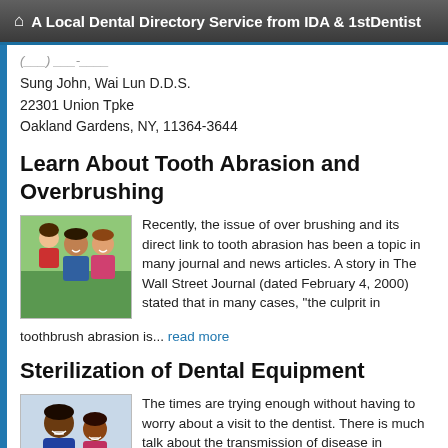A Local Dental Directory Service from IDA & 1stDentist
(___) ___-____
Sung John, Wai Lun D.D.S.
22301 Union Tpke
Oakland Gardens, NY, 11364-3644
Learn About Tooth Abrasion and Overbrushing
[Figure (photo): Photo of a smiling family (man, woman, child) outdoors with green background]
Recently, the issue of over brushing and its direct link to tooth abrasion has been a topic in many journal and news articles. A story in The Wall Street Journal (dated February 4, 2000) stated that in many cases, "the culprit in toothbrush abrasion is... read more
Sterilization of Dental Equipment
[Figure (photo): Photo of a smiling man and young girl]
The times are trying enough without having to worry about a visit to the dentist. There is much talk about the transmission of disease in